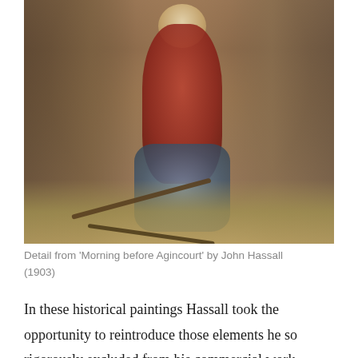[Figure (illustration): Detail from a historical painting showing a bearded man in a turban and red shirt seated among a group of soldiers or figures, holding a staff or weapon, with crossed sticks on the ground. The painting has earthy, muted tones of brown, blue, and red.]
Detail from 'Morning before Agincourt' by John Hassall (1903)
In these historical paintings Hassall took the opportunity to reintroduce those elements he so rigorously excluded from his commercial work. There is deep perspective, there are